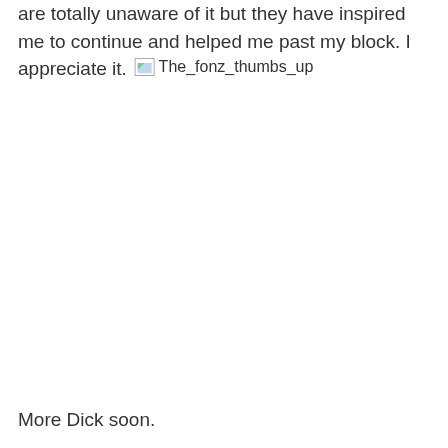are totally unaware of it but they have inspired me to continue and helped me past my block. I appreciate it.
[Figure (photo): Broken image placeholder showing alt text 'The_fonz_thumbs_up']
More Dick soon.